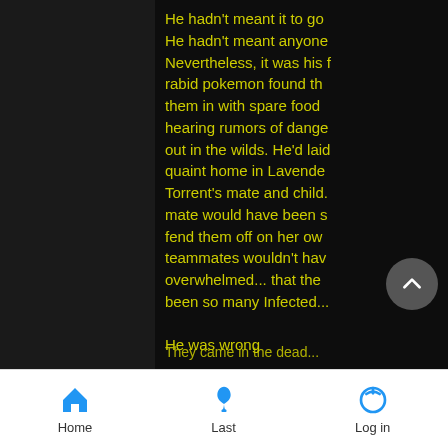He hadn't meant it to go this way. He hadn't meant anyone to get hurt. Nevertheless, it was his fault those rabid pokemon found the den. He'd taken them in with spare food and supplies after hearing rumors of danger for pokemon out in the wilds. He'd laid low in their quaint home in Lavender... watching over Torrent's mate and child... Torrent's mate would have been strong enough to fend them off on her own, and his teammates wouldn't have been overwhelmed... that there wouldn't have been so many Infected...

He was wrong
They came in the dead...
Home | Last | Log in